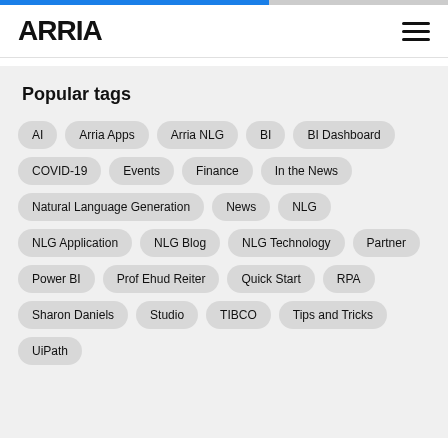ARRIA
Popular tags
AI
Arria Apps
Arria NLG
BI
BI Dashboard
COVID-19
Events
Finance
In the News
Natural Language Generation
News
NLG
NLG Application
NLG Blog
NLG Technology
Partner
Power BI
Prof Ehud Reiter
Quick Start
RPA
Sharon Daniels
Studio
TIBCO
Tips and Tricks
UiPath